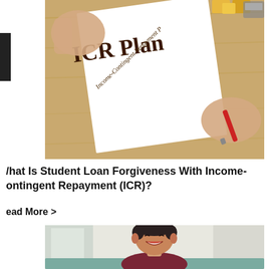[Figure (photo): Hands holding a white paper document titled 'ICR Plan' with subtitle 'Income-Contingent Repayment Plan', a red pen visible, on a wooden desk background]
What Is Student Loan Forgiveness With Income-Contingent Repayment (ICR)?
Read More >
[Figure (photo): Smiling middle-aged man with dark hair wearing a dark red/maroon shirt, seated on a teal couch in a bright room]